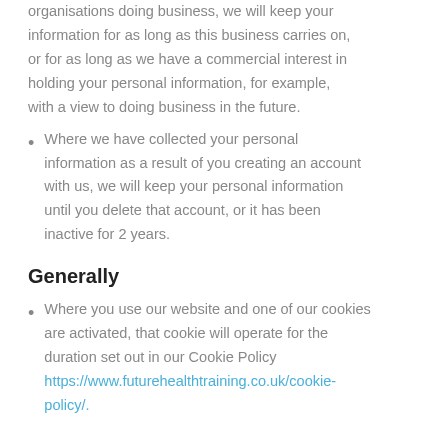organisations doing business, we will keep your information for as long as this business carries on, or for as long as we have a commercial interest in holding your personal information, for example, with a view to doing business in the future.
Where we have collected your personal information as a result of you creating an account with us, we will keep your personal information until you delete that account, or it has been inactive for 2 years.
Generally
Where you use our website and one of our cookies are activated, that cookie will operate for the duration set out in our Cookie Policy https://www.futurehealthtraining.co.uk/cookie-policy/.